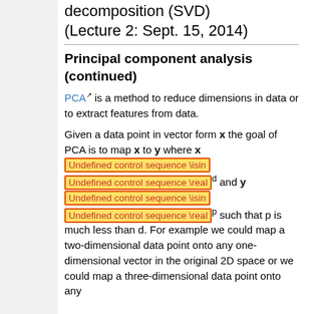decomposition (SVD) (Lecture 2: Sept. 15, 2014)
Principal component analysis (continued)
PCA is a method to reduce dimensions in data or to extract features from data.
Given a data point in vector form x the goal of PCA is to map x to y where x [Undefined control sequence \isin] [Undefined control sequence \real]^d and y [Undefined control sequence \isin] [Undefined control sequence \real]^p such that p is much less than d. For example we could map a two-dimensional data point onto any one-dimensional vector in the original 2D space or we could map a three-dimensional data point onto any 2D...in the original 3D...